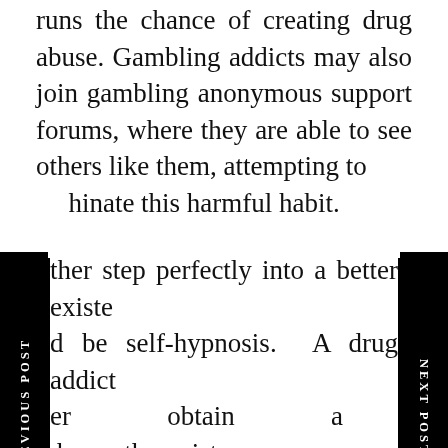runs the chance of creating drug abuse. Gambling addicts may also join gambling anonymous support forums, where they are able to see others like them, attempting to eliminate this harmful habit.
ther step perfectly into a better existence d be self-hypnosis. A drug addict may er obtain a hypnotherapist or notherapist, or purchase a CD of self-hypnosis, or use a mixture of the 2 methods. A hypnotherapist won't hypnotize, but pay attention to his problems and find out the causes of gambling and condition an answer.